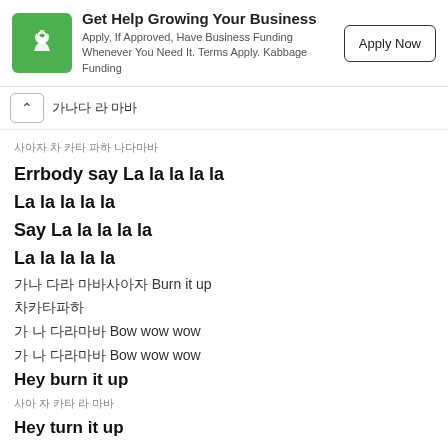[Figure (infographic): Kabbage business funding advertisement banner with green logo, title 'Get Help Growing Your Business', body text, and 'Apply Now' button]
가 나다 라 마바
사아자 차 카타 파하 나다마바
Errbody say La la la la la
La la la la la
Say La la la la la
La la la la la
가나 다라 마바사아자 Burn it up
차카타파하
가 나 다라마바 Bow wow wow
가 나 다라마바 Bow wow wow
Hey burn it up
사아 자 카타 라 마바
Hey turn it up